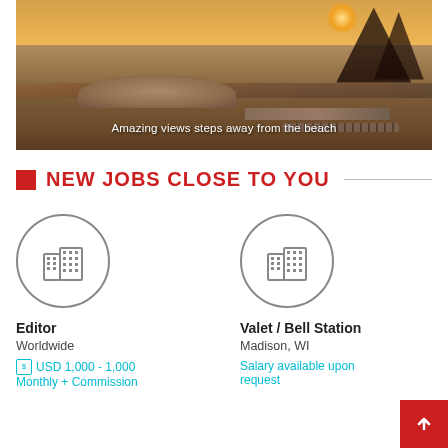[Figure (photo): Aerial/sunset view of a luxury beach resort with curved sofa seating area and infinity pool deck overlooking the ocean at sunset]
Amazing views steps away from the beach
NEW JOBS CLOSE TO YOU
[Figure (illustration): Building/office icon inside a circle - job listing icon for Editor position]
Editor
Worldwide
USD 1,000 - 1,000
Monthly + Commission
[Figure (illustration): Building/office icon inside a circle - job listing icon for Valet / Bell Station position]
Valet / Bell Station
Madison, WI
Salary available upon request